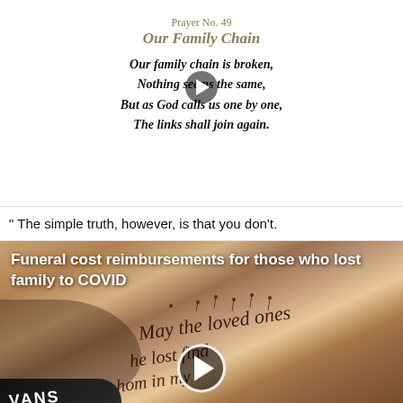Prayer No. 49
Our Family Chain
Our family chain is broken,
Nothing seems the same,
But as God calls us one by one,
The links shall join again.
[Figure (photo): Video play button overlay on prayer card]
" The simple truth, however, is that you don't.
[Figure (photo): Video thumbnail showing a tattoo on a foot/ankle area with cursive writing, overlaid with a play button. Caption reads: Funeral cost reimbursements for those who lost family to COVID]
Funeral cost reimbursements for those who lost family to COVID